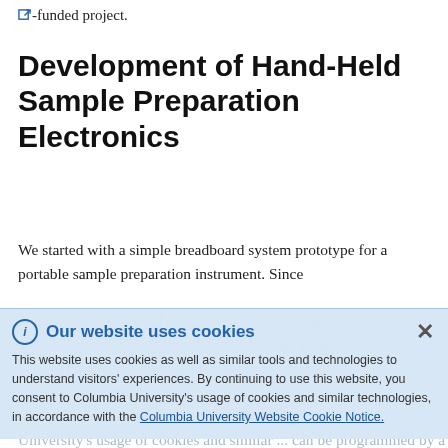🔗-funded project.
Development of Hand-Held Sample Preparation Electronics
We started with a simple breadboard system prototype for a portable sample preparation instrument. Since then, we have designed and built a prototype that was able to demonstrate all fluidic functions (pumping and valving) required for sample preparation. The figure shows the assembled printed circuit board holding a ... can be programmed by a personal computer via an integrated data port. After programming, the system
Our website uses cookies
This website uses cookies as well as similar tools and technologies to understand visitors' experiences. By continuing to use this website, you consent to Columbia University's usage of cookies and similar technologies, in accordance with the Columbia University Website Cookie Notice.